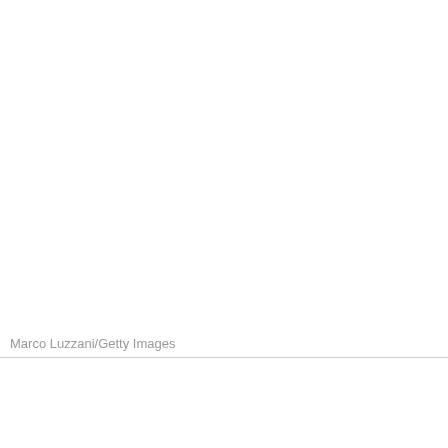[Figure (photo): Large white/blank photo area occupying the upper portion of the page]
Marco Luzzani/Getty Images